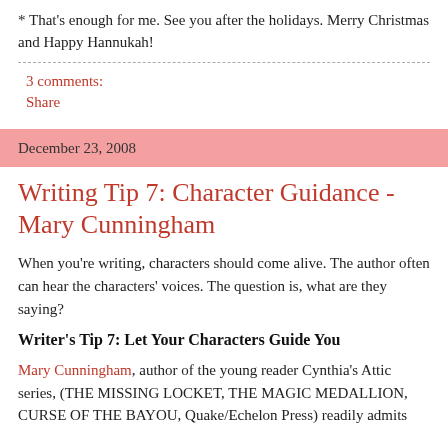* That's enough for me. See you after the holidays. Merry Christmas and Happy Hannukah!
3 comments:
Share
December 23, 2008
Writing Tip 7: Character Guidance - Mary Cunningham
When you're writing, characters should come alive. The author often can hear the characters' voices. The question is, what are they saying?
Writer's Tip 7: Let Your Characters Guide You
Mary Cunningham, author of the young reader Cynthia's Attic series, (THE MISSING LOCKET, THE MAGIC MEDALLION, CURSE OF THE BAYOU, Quake/Echelon Press) readily admits